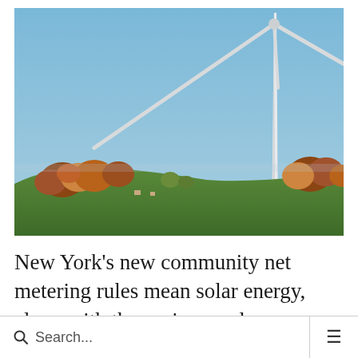[Figure (photo): A wind turbine against a clear blue sky, with autumn-colored trees and a green hillside in the foreground.]
New York's new community net metering rules mean solar energy, along with the savings and environmental advantages that come with it, just
Search... ≡